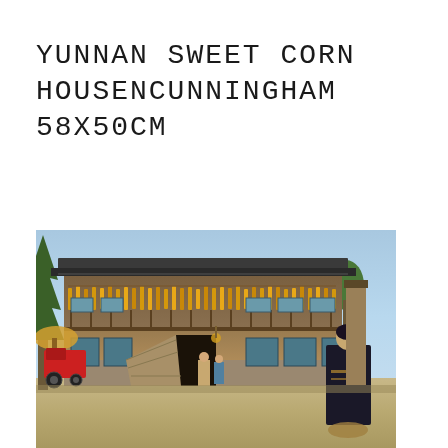YUNNAN SWEET CORN HOUSENCUNNINGHAM 58X50CM
[Figure (illustration): Painting of a traditional Chinese wooden building in Yunnan province. The two-story structure has corn cobs hanging from the upper balcony, green-tinted windows, and a dark tiled roof. A tractor is visible on the left side, a woman in traditional dark clothing sits in the lower right, and two children are visible near the entrance. Trees frame the left side of the building.]